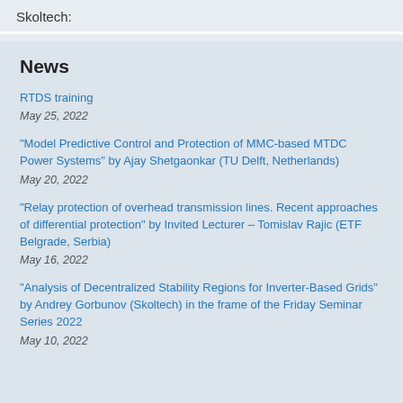Skoltech:
News
RTDS training
May 25, 2022
"Model Predictive Control and Protection of MMC-based MTDC Power Systems" by Ajay Shetgaonkar (TU Delft, Netherlands)
May 20, 2022
"Relay protection of overhead transmission lines. Recent approaches of differential protection" by Invited Lecturer – Tomislav Rajic (ETF Belgrade, Serbia)
May 16, 2022
"Analysis of Decentralized Stability Regions for Inverter-Based Grids" by Andrey Gorbunov (Skoltech) in the frame of the Friday Seminar Series 2022
May 10, 2022